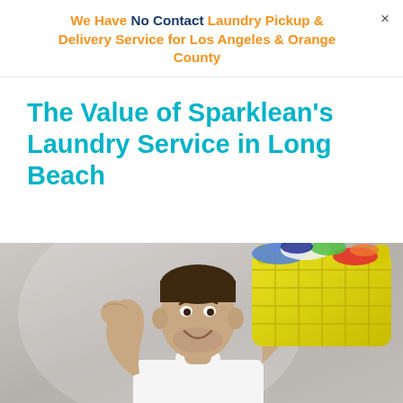We Have No Contact Laundry Pickup & Delivery Service for Los Angeles & Orange County
The Value of Sparklean's Laundry Service in Long Beach
[Figure (photo): A smiling young man in a white t-shirt flexing his arm while balancing a yellow laundry basket full of colorful clothes on his shoulder, against a light grey background.]